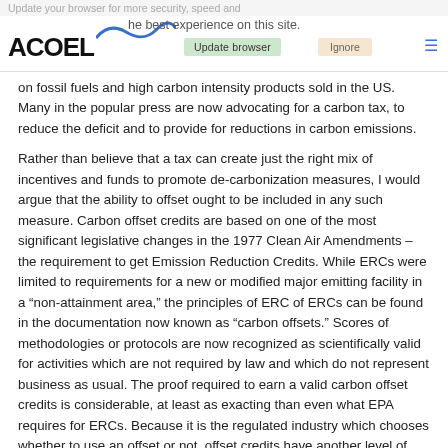Update your browser for more security, speed and the best experience on this site. Update browser | Ignore | ACOEL
on fossil fuels and high carbon intensity products sold in the US. Many in the popular press are now advocating for a carbon tax, to reduce the deficit and to provide for reductions in carbon emissions.

Rather than believe that a tax can create just the right mix of incentives and funds to promote de-carbonization measures, I would argue that the ability to offset ought to be included in any such measure. Carbon offset credits are based on one of the most significant legislative changes in the 1977 Clean Air Amendments – the requirement to get Emission Reduction Credits. While ERCs were limited to requirements for a new or modified major emitting facility in a “non-attainment area,” the principles of ERC of ERCs can be found in the documentation now known as “carbon offsets.” Scores of methodologies or protocols are now recognized as scientifically valid for activities which are not required by law and which do not represent business as usual. The proof required to earn a valid carbon offset credits is considerable, at least as exacting than even what EPA requires for ERCs. Because it is the regulated industry which chooses whether to use an offset or not, offset credits have another level of proof — that of the end user – to satisfy. And Innovation and entrepreneurs are characteristic of carbon offset credits.